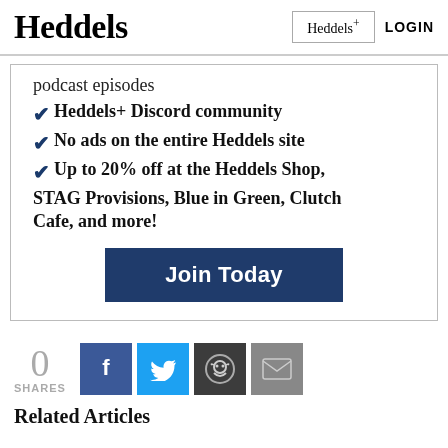Heddels | Heddels+ | LOGIN
podcast episodes
Heddels+ Discord community
No ads on the entire Heddels site
Up to 20% off at the Heddels Shop, STAG Provisions, Blue in Green, Clutch Cafe, and more!
Join Today
0 SHARES
Related Articles